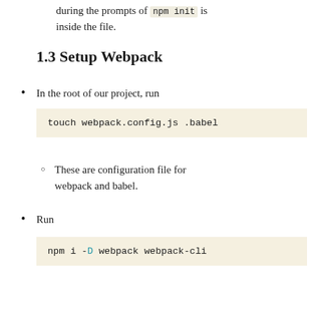during the prompts of npm init is inside the file.
1.3 Setup Webpack
In the root of our project, run
touch webpack.config.js .babel
These are configuration file for webpack and babel.
Run
npm i -D webpack webpack-cli